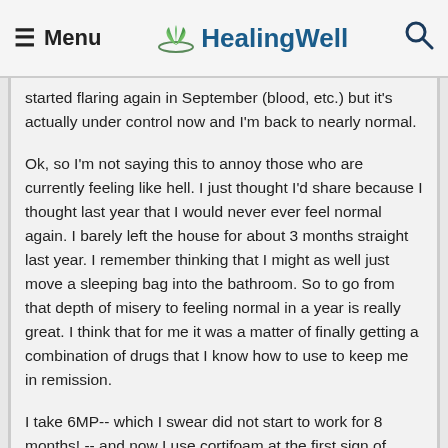≡ Menu  HealingWell  🔍
started flaring again in September (blood, etc.) but it's actually under control now and I'm back to nearly normal.
Ok, so I'm not saying this to annoy those who are currently feeling like hell. I just thought I'd share because I thought last year that I would never ever feel normal again. I barely left the house for about 3 months straight last year. I remember thinking that I might as well just move a sleeping bag into the bathroom. So to go from that depth of misery to feeling normal in a year is really great. I think that for me it was a matter of finally getting a combination of drugs that I know how to use to keep me in remission.
I take 6MP-- which I swear did not start to work for 8 months! -- and now I use cortifoam at the first sign of blood. I'd prefer not to use something with steroids but I know it works and for a few weeks here and there it's not